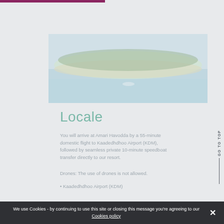[Figure (photo): Aerial view of a small tropical island surrounded by turquoise water, with dense green vegetation along the shore and a sandy beach]
Locale
You will arrive at Amari Havodda by a 55-minute domestic flight to Kaadedhdhoo Airport (KDM), followed by seamless private 10-minute speedboat transfer directly to our resort.
Drones: The use of drones is not allowed.
• Kaadedhdhoo Airport (KDM)
We use Cookies - by continuing to use this site or closing this message you're agreeing to our Cookies policy